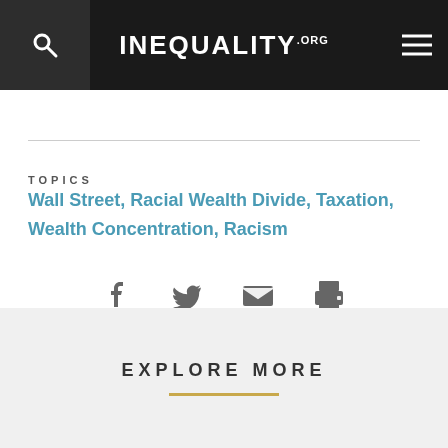INEQUALITY.ORG
TOPICS  Wall Street, Racial Wealth Divide, Taxation, Wealth Concentration, Racism
[Figure (infographic): Social share icons: Facebook, Twitter, Email, Print]
EXPLORE MORE